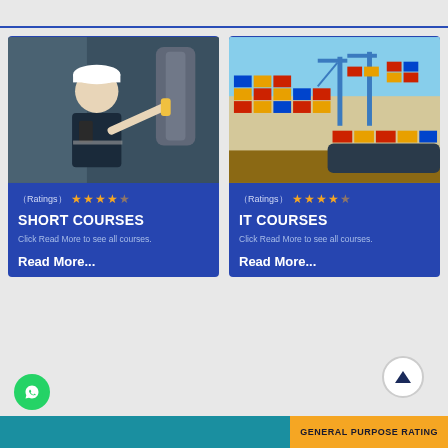[Figure (photo): Man in white hard hat with walkie-talkie pointing at industrial equipment on a ship or dock]
(Ratings) ★★★★☆
SHORT COURSES
Click Read More to see all courses.
Read More...
[Figure (photo): Aerial view of a container port with cargo ship and stacked colorful containers, cranes visible]
(Ratings) ★★★★☆
IT COURSES
Click Read More to see all courses.
Read More...
GENERAL PURPOSE RATING